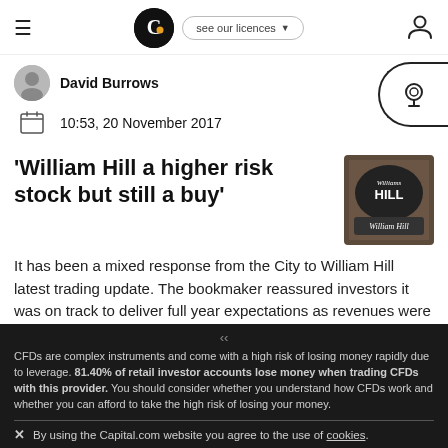Capital.com — see our licences
David Burrows
10:53, 20 November 2017
'William Hill a higher risk stock but still a buy'
[Figure (photo): William Hill store front signage photo]
It has been a mixed response from the City to William Hill latest trading update. The bookmaker reassured investors it was on track to deliver full year expectations as revenues were boosted by online and US businesses.
David Burrows
CFDs are complex instruments and come with a high risk of losing money rapidly due to leverage. 81.40% of retail investor accounts lose money when trading CFDs with this provider. You should consider whether you understand how CFDs work and whether you can afford to take the high risk of losing your money.
By using the Capital.com website you agree to the use of cookies.